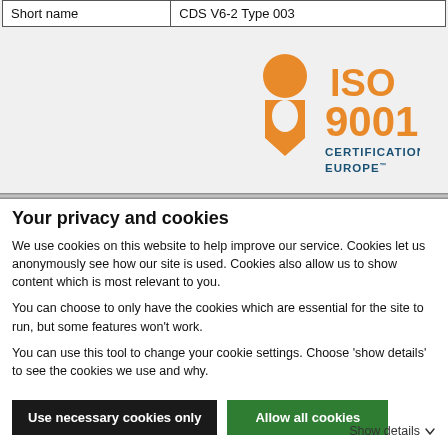| Short name | CDS V6-2 Type 003 |
[Figure (logo): ISO 9001 Certification Europe logo — orange ribbon/figure icon with ISO 9001 CERTIFICATION EUROPE text in blue and orange]
Your privacy and cookies
We use cookies on this website to help improve our service.  Cookies let us anonymously see how our site is used.  Cookies also allow us to show content which is most relevant to you.
You can choose to only have the cookies which are essential for the site to run, but some features won't work.
You can use this tool to change your cookie settings. Choose 'show details' to see the cookies we use and why.
Use necessary cookies only | Allow all cookies | Show details